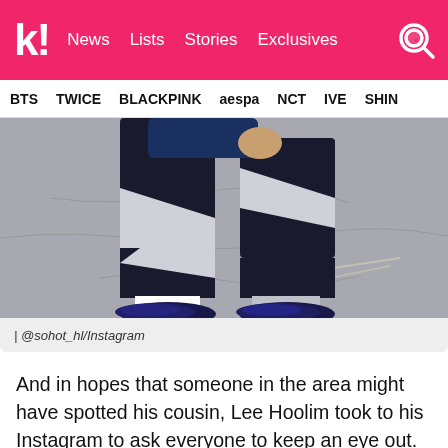k! News Lists Stories Exclusives
BTS TWICE BLACKPINK aespa NCT IVE SHIN
[Figure (photo): Lower body of a person wearing black and white color-block pants and dark sneakers, standing on a concrete surface]
| @sohot_hl/Instagram
And in hopes that someone in the area might have spotted his cousin, Lee Hoolim took to his Instagram to ask everyone to keep an eye out.